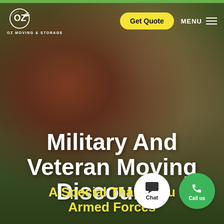[Figure (photo): Background photo of a woman with red hair in a red sweater and a man in military camouflage uniform, both smiling, standing in front of a building with columns. Dark green overlay on the image.]
[Figure (logo): OZ Moving & Storage logo — white circular logo with OZ text and wings, with text 'OZ MOVING & STORAGE' below in white]
Get Quote
MENU
Military And Veteran Moving Discounts
A Special Thank You Armed Forces
Chat
Call us